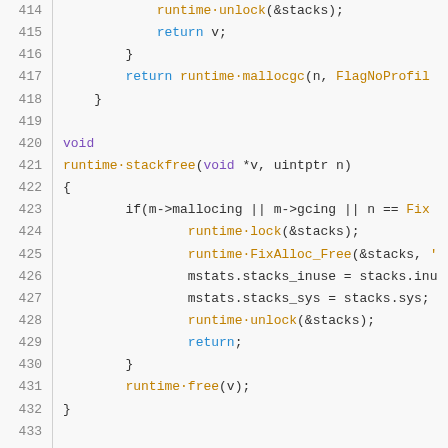[Figure (screenshot): Source code listing (Go/C style) showing lines 414-435 of a runtime stack allocator. Lines show functions runtime·stackfree and Alloc with syntax highlighting: line numbers in gray, keywords in purple, function names in gold/orange, plain identifiers in dark gray. Background is light gray.]